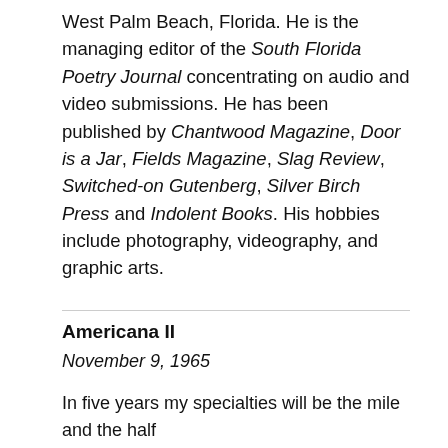West Palm Beach, Florida. He is the managing editor of the South Florida Poetry Journal concentrating on audio and video submissions. He has been published by Chantwood Magazine, Door is a Jar, Fields Magazine, Slag Review, Switched-on Gutenberg, Silver Birch Press and Indolent Books. His hobbies include photography, videography, and graphic arts.
Americana II
November 9, 1965
In five years my specialties will be the mile and the half
no surprise since half is the one-way measure from our house